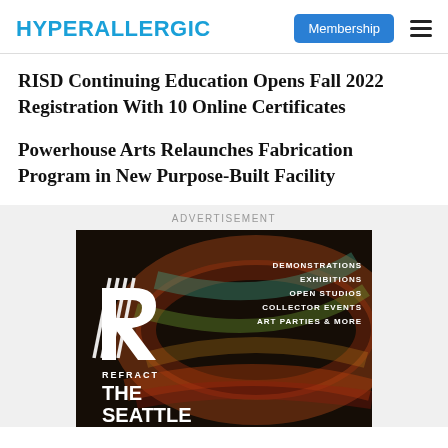HYPERALLERGIC
RISD Continuing Education Opens Fall 2022 Registration With 10 Online Certificates
Powerhouse Arts Relaunches Fabrication Program in New Purpose-Built Facility
ADVERTISEMENT
[Figure (illustration): Advertisement for REFRACT THE SEATTLE art event, showing a stylized R logo with diagonal lines on a dark colorful background, with text: DEMONSTRATIONS, EXHIBITIONS, OPEN STUDIOS, COLLECTOR EVENTS, ART PARTIES & MORE, REFRACT, THE SEATTLE]